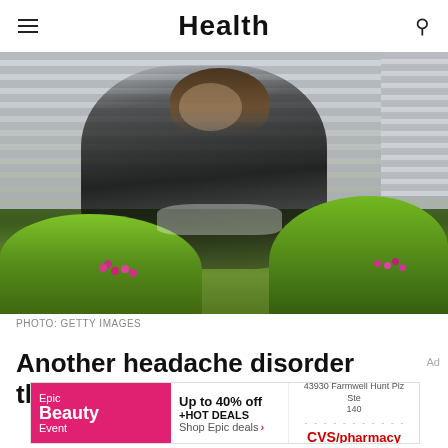Health
[Figure (photo): Woman in black business suit holding her hand to her forehead (headache gesture) standing in front of a building with decorative hedges and flowers]
PHOTO: GETTY IMAGES
Another headache disorder that's often
[Figure (other): Advertisement banner: Epic Beauty Event - Up to 40% off +HOT DEALS Shop Epic deals, CVS/pharmacy at 43930 Farmwell Hunt Plz Ste 140]